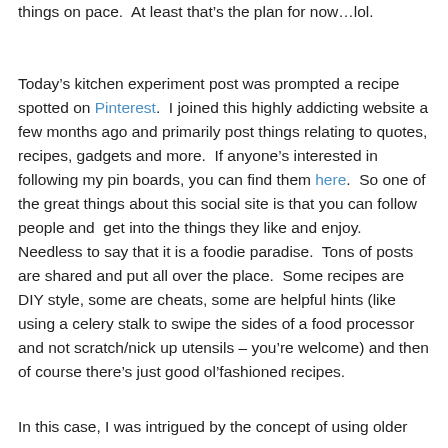things on pace.  At least that's the plan for now…lol.
Today's kitchen experiment post was prompted a recipe spotted on Pinterest.  I joined this highly addicting website a few months ago and primarily post things relating to quotes, recipes, gadgets and more.  If anyone's interested in following my pin boards, you can find them here.  So one of the great things about this social site is that you can follow people and  get into the things they like and enjoy.  Needless to say that it is a foodie paradise.  Tons of posts are shared and put all over the place.  Some recipes are DIY style, some are cheats, some are helpful hints (like using a celery stalk to swipe the sides of a food processor and not scratch/nick up utensils – you're welcome) and then of course there's just good ol'fashioned recipes.
In this case, I was intrigued by the concept of using older